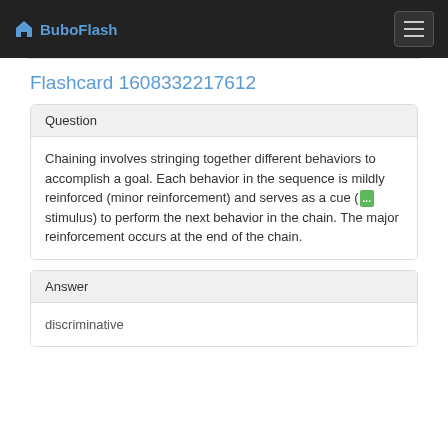BuboFlash
Flashcard 1608332217612
Question
Chaining involves stringing together different behaviors to accomplish a goal. Each behavior in the sequence is mildly reinforced (minor reinforcement) and serves as a cue ([...] stimulus) to perform the next behavior in the chain. The major reinforcement occurs at the end of the chain.
Answer
discriminative